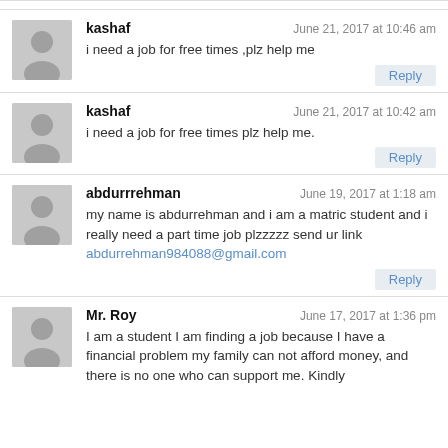kashaf — June 21, 2017 at 10:46 am
i need a job for free times ,plz help me
kashaf — June 21, 2017 at 10:42 am
i need a job for free times plz help me.
abdurrrehman — June 19, 2017 at 1:18 am
my name is abdurrehman and i am a matric student and i really need a part time job plzzzzz send ur link
abdurrehman984088@gmail.com
Mr. Roy — June 17, 2017 at 1:36 pm
I am a student I am finding a job because I have a financial problem my family can not afford money, and there is no one who can support me. Kindly